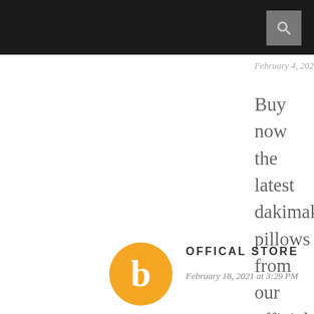February 4, 2021 at 1:25 PM
Buy now the latest dakimakura pillows from our official dakimakura store. We provide the best Anime Dakimakura Pillows from the Dakimakura shop. Anime Pillows and pillowcases are available with custom-made designs. Up to 50% off
Reply
OFFICAL STORE
February 18, 2021 at 3:29 PM